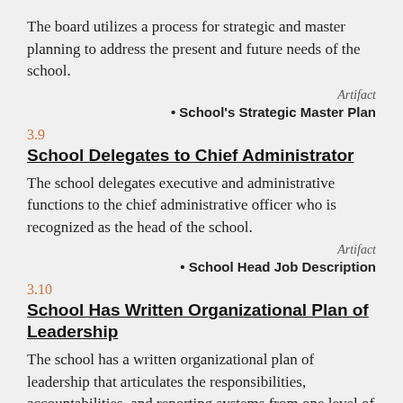The board utilizes a process for strategic and master planning to address the present and future needs of the school.
Artifact
School's Strategic Master Plan
3.9
School Delegates to Chief Administrator
The school delegates executive and administrative functions to the chief administrative officer who is recognized as the head of the school.
Artifact
School Head Job Description
3.10
School Has Written Organizational Plan of Leadership
The school has a written organizational plan of leadership that articulates the responsibilities, accountabilities, and reporting systems from one level of leadership to the other.